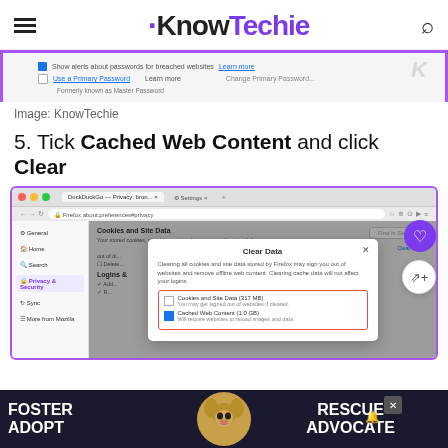KnowTechie
[Figure (screenshot): Firefox browser settings screenshot showing password options with checkboxes for Primary Password and breached website alerts]
Image: KnowTechie
5. Tick Cached Web Content and click Clear
[Figure (screenshot): Firefox browser Privacy & Security settings page showing Clear Data modal dialog with Cached Web Content checkbox checked (1.0 GB) and Cookies and Site Data unchecked (317 MB)]
[Figure (other): Advertisement banner: Foster Adopt Advocate with dog image]